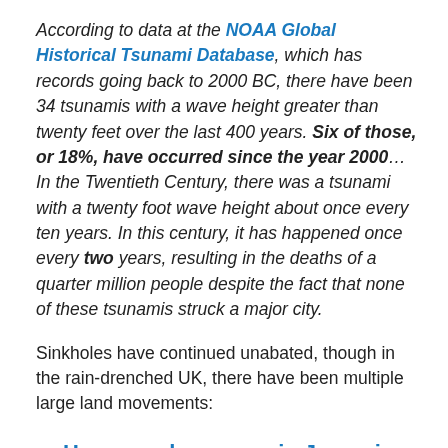According to data at the NOAA Global Historical Tsunami Database, which has records going back to 2000 BC, there have been 34 tsunamis with a wave height greater than twenty feet over the last 400 years. Six of those, or 18%, have occurred since the year 2000…In the Twentieth Century, there was a tsunami with a twenty foot wave height about once every ten years. In this century, it has happened once every two years, resulting in the deaths of a quarter million people despite the fact that none of these tsunamis struck a major city.
Sinkholes have continued unabated, though in the rain-drenched UK, there have been multiple large land movements:
Huge cracks appear in Jurassic